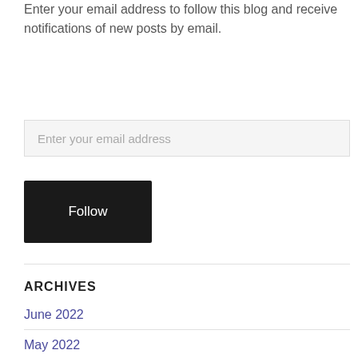Enter your email address to follow this blog and receive notifications of new posts by email.
[Figure (other): Email input field with placeholder text 'Enter your email address']
[Figure (other): Black Follow button]
ARCHIVES
June 2022
May 2022
February 2022